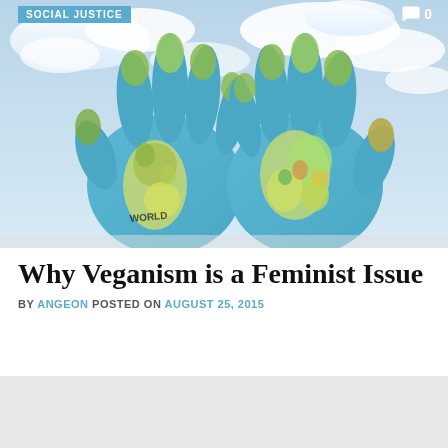[Figure (photo): Two hands with palms facing forward, painted with world map continents in blue, green, yellow and other colors, held up against a blue sky with white clouds. The word WORLD is visible on one palm.]
SOCIAL JUSTICE
Why Veganism is a Feminist Issue
BY ANGEON POSTED ON AUGUST 25, 2015